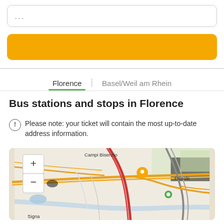[Figure (screenshot): Search input box with ellipsis placeholder text]
[Figure (other): Orange/yellow rounded button (call to action)]
Florence | Basel/Weil am Rhein
Bus stations and stops in Florence
Please note: your ticket will contain the most up-to-date address information.
[Figure (map): Map of Florence area showing Campi Bisenzio, Fiesole, Signa with orange location pin and green dot markers, zoom controls]